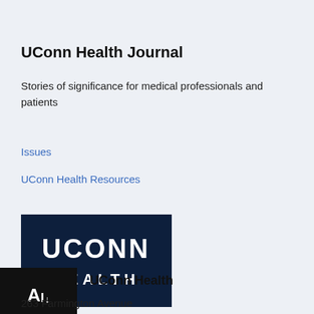UConn Health Journal
Stories of significance for medical professionals and patients
Issues
UConn Health Resources
[Figure (logo): UConn Health logo — dark navy rectangle with white bold text 'UCONN' on top and 'HEALTH' below]
UConn Health
263 Farmington Avenue